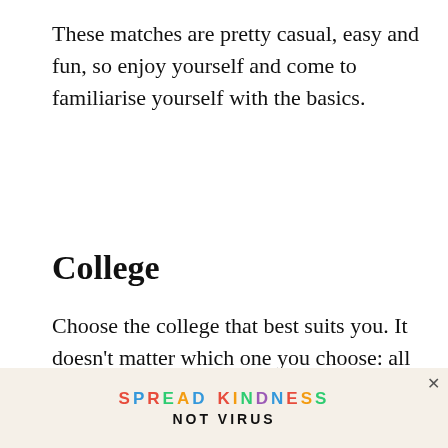These matches are pretty casual, easy and fun, so enjoy yourself and come to familiarise yourself with the basics.
College
Choose the college that best suits you. It doesn't matter which one you choose: all that matters is your performance. Each of the colleges will pitch to you, and you'll ha plenty of time to make your decision. Yo p ge
[Figure (other): Advertisement banner reading SPREAD KINDNESS NOT VIRUS with colorful letters and a close button]